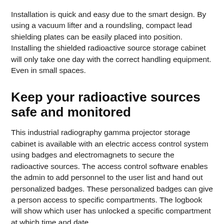Installation is quick and easy due to the smart design. By using a vacuum lifter and a roundsling, compact lead shielding plates can be easily placed into position. Installing the shielded radioactive source storage cabinet will only take one day with the correct handling equipment. Even in small spaces.
Keep your radioactive sources safe and monitored
This industrial radiography gamma projector storage cabinet is available with an electric access control system using badges and electromagnets to secure the radioactive sources. The access control software enables the admin to add personnel to the user list and hand out personalized badges. These personalized badges can give a person access to specific compartments. The logbook will show which user has unlocked a specific compartment at which time and date.